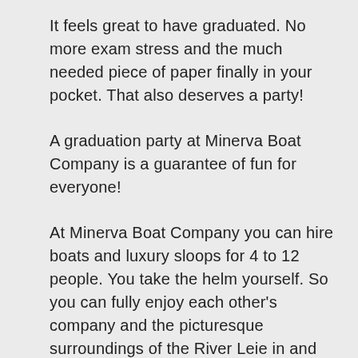It feels great to have graduated. No more exam stress and the much needed piece of paper finally in your pocket. That also deserves a party!
A graduation party at Minerva Boat Company is a guarantee of fun for everyone!
At Minerva Boat Company you can hire boats and luxury sloops for 4 to 12 people. You take the helm yourself. So you can fully enjoy each other's company and the picturesque surroundings of the River Leie in and around Ghent. You are welcome to decorate the boat, but be careful not to